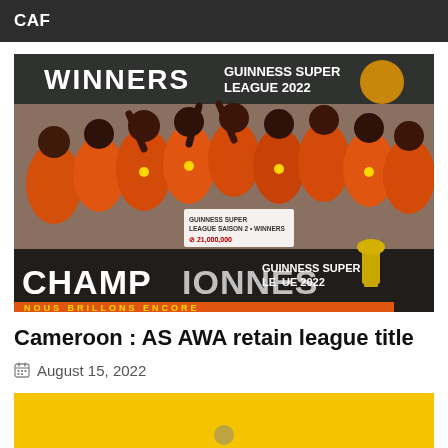CAF
[Figure (photo): Group of women in orange jerseys celebrating winning the Guinness Super League 2022, holding a trophy and a large banner reading CHAMPIONNES NOUS BRILLONS ENCORE]
Cameroon : AS AWA retain league title
August 15, 2022
[Figure (photo): Partial bottom image with yellow/gold background, partially visible]